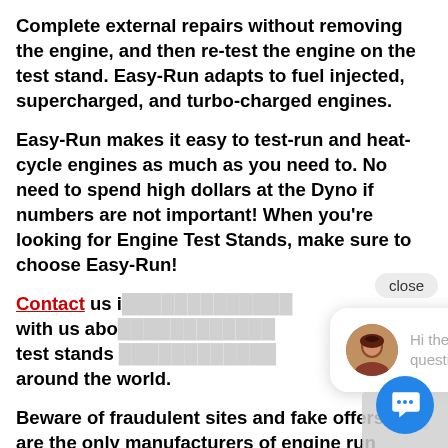Complete external repairs without removing the engine, and then re-test the engine on the test stand. Easy-Run adapts to fuel injected, supercharged, and turbo-charged engines.
Easy-Run makes it easy to test-run and heat-cycle engines as much as you need to. No need to spend high dollars at the Dyno if numbers are not important! When you're looking for Engine Test Stands, make sure to choose Easy-Run!
Contact us i... with us abo... test stands ... around the world.
Beware of fraudulent sites and fake offers. are the only manufacturers of engine run stands under the brand name of Easy-Run.
[Figure (screenshot): Live chat popup overlay with avatar photo of a woman and text 'Hi there, have a question? Text us here.' with a close button and blue chat icon button.]